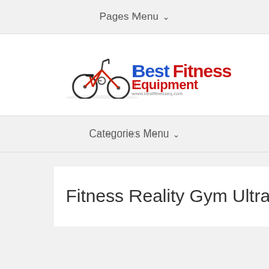Pages Menu ▾
[Figure (logo): Best Fitness Equipment logo with a red exercise bike on the left and the brand name text in blue and red, with website www.bestfitnesseq.com]
Categories Menu ▾
Fitness Reality Gym Ultra